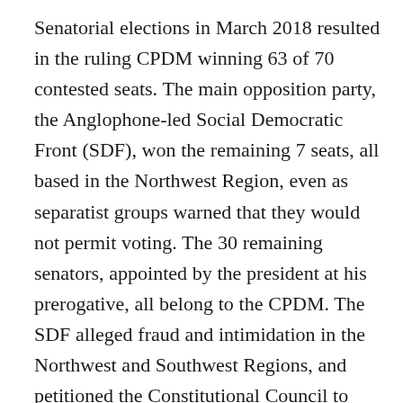Senatorial elections in March 2018 resulted in the ruling CPDM winning 63 of 70 contested seats. The main opposition party, the Anglophone-led Social Democratic Front (SDF), won the remaining 7 seats, all based in the Northwest Region, even as separatist groups warned that they would not permit voting. The 30 remaining senators, appointed by the president at his prerogative, all belong to the CPDM. The SDF alleged fraud and intimidation in the Northwest and Southwest Regions, and petitioned the Constitutional Council to cancel election results in the Southwest Region, but the council rejected the petition.
In July 2018, the government delayed local and legislative elections originally due in October 2018 to October 2019, citing the logistical difficulty of managing presidential, legislative, and municipal elections concurrently. In July 2019, the government delayed those elections to February